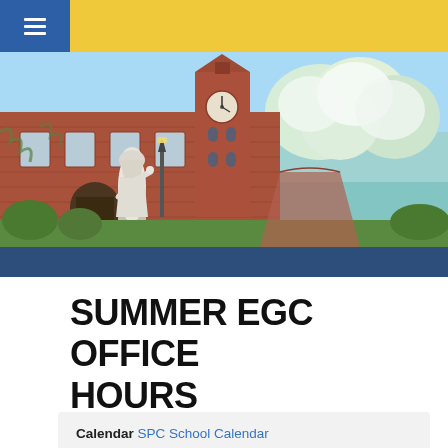Navigation bar with hamburger menu
[Figure (photo): Campus photo showing a white religious statue in front of a red brick building with a clock tower, surrounded by flowering trees in bloom against a blue sky.]
SUMMER EGC OFFICE HOURS
Calendar SPC School Calendar
Date 07.06.2022 9:00 am - 12:00 pm
Url https://www.google.com/calendar/event?eid=Mzk5NmZvMmI3cGRxMWZnb20xajA1ajRjc2